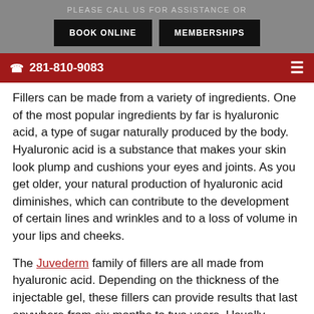PLEASE CALL US FOR ASSISTANCE OR
BOOK ONLINE | MEMBERSHIPS
281-810-9083
Fillers can be made from a variety of ingredients. One of the most popular ingredients by far is hyaluronic acid, a type of sugar naturally produced by the body. Hyaluronic acid is a substance that makes your skin look plump and cushions your eyes and joints. As you get older, your natural production of hyaluronic acid diminishes, which can contribute to the development of certain lines and wrinkles and to a loss of volume in your lips and cheeks.
The Juvederm family of fillers are all made from hyaluronic acid. Depending on the thickness of the injectable gel, these fillers can provide results that last anywhere from six months to two years. Usually, thinner hyaluronic acid fillers